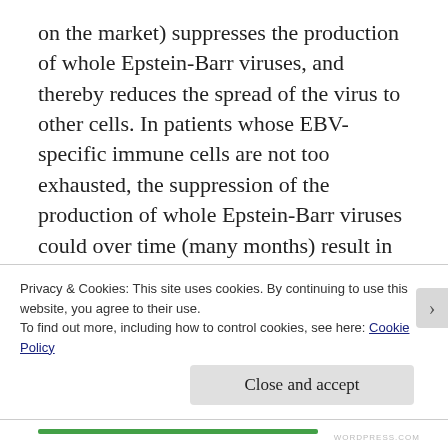on the market) suppresses the production of whole Epstein-Barr viruses, and thereby reduces the spread of the virus to other cells. In patients whose EBV-specific immune cells are not too exhausted, the suppression of the production of whole Epstein-Barr viruses could over time (many months) result in fewer EBV-infected cells. But valganciclovir does not suppress other forms of EBV-related activity that may take place in EBV-infected cells, such as the
Privacy & Cookies: This site uses cookies. By continuing to use this website, you agree to their use.
To find out more, including how to control cookies, see here: Cookie Policy
Close and accept